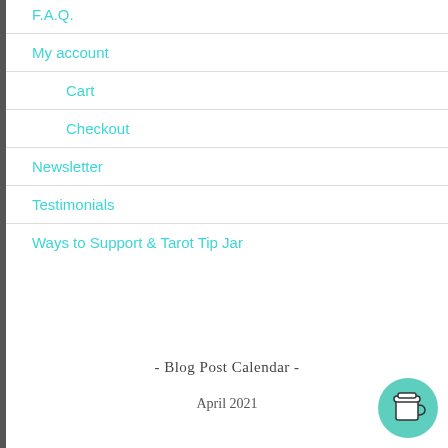F.A.Q.
My account
Cart
Checkout
Newsletter
Testimonials
Ways to Support & Tarot Tip Jar
- Blog Post Calendar -
April 2021
[Figure (illustration): Coffee cup icon inside a teal/green circular button in the bottom right corner]